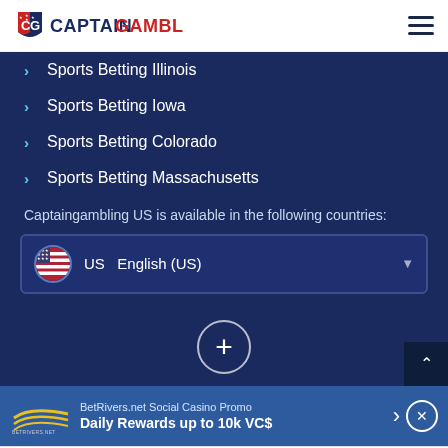[Figure (logo): CaptainGambling logo with shield icon in blue/red and text 'CAPTAIN' in navy, 'GAMBLING' in red]
Sports Betting Illinois
Sports Betting Iowa
Sports Betting Colorado
Sports Betting Massachusetts
Captaingambling US is available in the following countries:
US  English (US)
[Figure (screenshot): Plus/expand button circle with + symbol]
BetRivers.net Social Casino Promo
Daily Rewards up to 10k VC$
Free To Play Casinos  Sportsbooks  Betting Promos  Picks  Casino